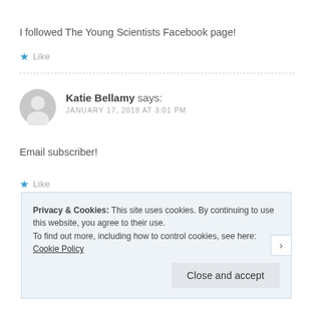I followed The Young Scientists Facebook page!
★ Like
Katie Bellamy says: JANUARY 17, 2018 AT 3:01 PM
Email subscriber!
★ Like
Privacy & Cookies: This site uses cookies. By continuing to use this website, you agree to their use. To find out more, including how to control cookies, see here: Cookie Policy
Close and accept